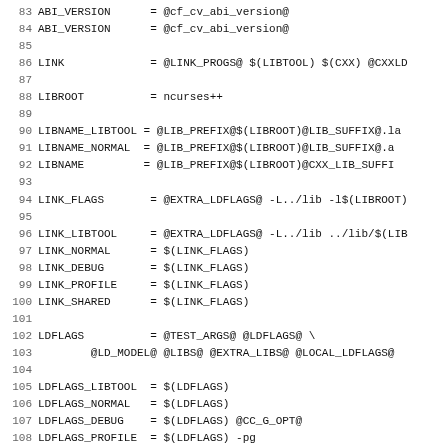Source code / Makefile snippet, lines 84–115, showing build variable definitions for ABI_VERSION, LINK, LIBROOT, LIBNAME_LIBTOOL, LIBNAME_NORMAL, LIBNAME, LINK_FLAGS, LINK_LIBTOOL, LINK_NORMAL, LINK_DEBUG, LINK_PROFILE, LINK_SHARED, LDFLAGS, LDFLAGS_LIBTOOL, LDFLAGS_NORMAL, LDFLAGS_DEBUG, LDFLAGS_PROFILE, LDFLAGS_SHARED, LDFLAGS_DEFAULT, AUTO_SRC